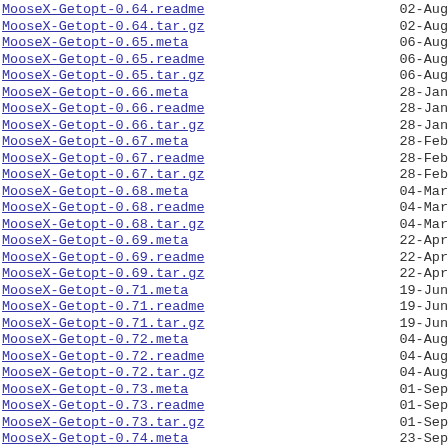MooseX-Getopt-0.64.readme  02-Aug
MooseX-Getopt-0.64.tar.gz  02-Aug
MooseX-Getopt-0.65.meta  06-Aug
MooseX-Getopt-0.65.readme  06-Aug
MooseX-Getopt-0.65.tar.gz  06-Aug
MooseX-Getopt-0.66.meta  28-Jan
MooseX-Getopt-0.66.readme  28-Jan
MooseX-Getopt-0.66.tar.gz  28-Jan
MooseX-Getopt-0.67.meta  28-Feb
MooseX-Getopt-0.67.readme  28-Feb
MooseX-Getopt-0.67.tar.gz  28-Feb
MooseX-Getopt-0.68.meta  04-Mar
MooseX-Getopt-0.68.readme  04-Mar
MooseX-Getopt-0.68.tar.gz  04-Mar
MooseX-Getopt-0.69.meta  22-Apr
MooseX-Getopt-0.69.readme  22-Apr
MooseX-Getopt-0.69.tar.gz  22-Apr
MooseX-Getopt-0.71.meta  19-Jun
MooseX-Getopt-0.71.readme  19-Jun
MooseX-Getopt-0.71.tar.gz  19-Jun
MooseX-Getopt-0.72.meta  04-Aug
MooseX-Getopt-0.72.readme  04-Aug
MooseX-Getopt-0.72.tar.gz  04-Aug
MooseX-Getopt-0.73.meta  01-Sep
MooseX-Getopt-0.73.readme  01-Sep
MooseX-Getopt-0.73.tar.gz  01-Sep
MooseX-Getopt-0.74.meta  23-Sep
MooseX-Getopt-0.74.readme  23-Sep
MooseX-Getopt-0.74.tar.gz  23-Sep
MooseX-Getopt-0.75.meta  16-Mar